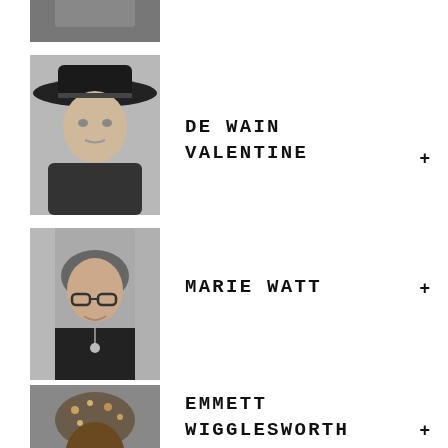[Figure (photo): Partial black-and-white photo of a person, cropped at top of page]
[Figure (photo): Black-and-white portrait photo of De Wain Valentine wearing a cowboy hat]
DE WAIN VALENTINE
[Figure (photo): Black-and-white portrait photo of Marie Watt, a woman with glasses and short hair]
MARIE WATT
[Figure (photo): Black-and-white portrait photo of Emmett Wigglesworth wearing a patterned head wrap]
EMMETT WIGGLESWORTH